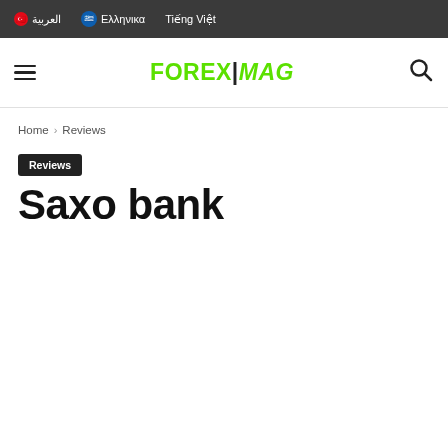العربية  Ελληνικα  Tiếng Việt
[Figure (logo): FOREXMAG logo in green with hamburger menu and search icon]
Home › Reviews
Reviews
Saxo bank